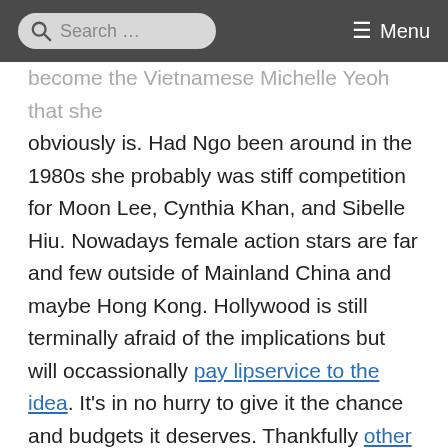Search ... Menu
become the Vietnamese Michelle Yeoh that she obviously is. Had Ngo been around in the 1980s she probably was stiff competition for Moon Lee, Cynthia Khan, and Sibelle Hiu. Nowadays female action stars are far and few outside of Mainland China and maybe Hong Kong. Hollywood is still terminally afraid of the implications but will occassionally pay lipservice to the idea. It's in no hurry to give it the chance and budgets it deserves. Thankfully other countries recognize potential when they see it. Directors like Lê Văn Kiệt or Pedring A. Lopez should be given a chance to direct a The Expendables sequel instead of wasting away working on small projects within their respective domestic cinematic industries. Furie is the kind of stuff that international